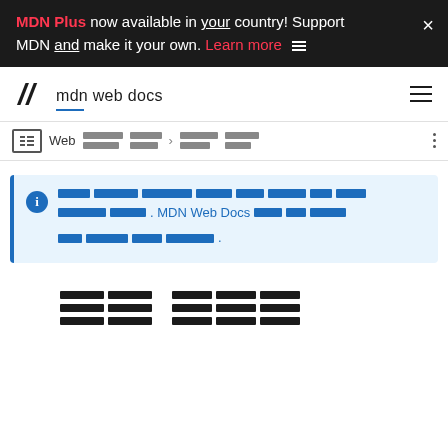MDN Plus now available in your country! Support MDN and make it your own. Learn more
[Figure (logo): MDN Web Docs logo with M icon and text 'mdn web docs' with blue underline]
[Figure (infographic): Breadcrumb navigation bar with sidebar toggle icon, 'Web' text, redacted breadcrumb items, arrow, redacted page title, and vertical dots menu]
Info callout box: redacted text referencing MDN Web Docs with blue highlighted content
[Figure (infographic): Redacted/censored text blocks at bottom of page representing article body content]